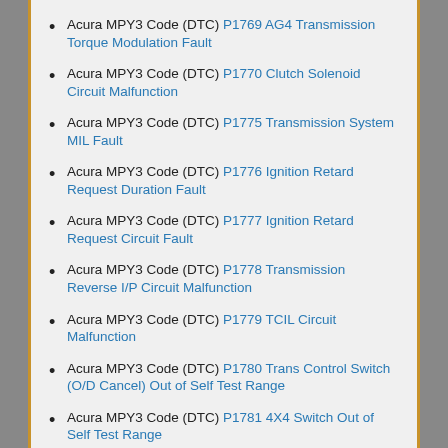Acura MPY3 Code (DTC) P1769 AG4 Transmission Torque Modulation Fault
Acura MPY3 Code (DTC) P1770 Clutch Solenoid Circuit Malfunction
Acura MPY3 Code (DTC) P1775 Transmission System MIL Fault
Acura MPY3 Code (DTC) P1776 Ignition Retard Request Duration Fault
Acura MPY3 Code (DTC) P1777 Ignition Retard Request Circuit Fault
Acura MPY3 Code (DTC) P1778 Transmission Reverse I/P Circuit Malfunction
Acura MPY3 Code (DTC) P1779 TCIL Circuit Malfunction
Acura MPY3 Code (DTC) P1780 Trans Control Switch (O/D Cancel) Out of Self Test Range
Acura MPY3 Code (DTC) P1781 4X4 Switch Out of Self Test Range
Acura MPY3 Code (DTC) P1782 P/ES Circuit Out Of Self Test Range
Acura MPY3 Code (DTC) P1783 Transmission Overtemperature Condition